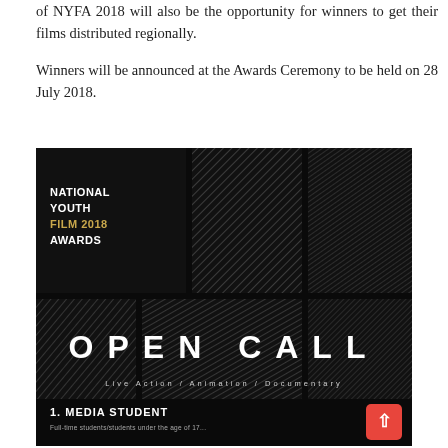of NYFA 2018 will also be the opportunity for winners to get their films distributed regionally.
Winners will be announced at the Awards Ceremony to be held on 28 July 2018.
[Figure (illustration): National Youth Film 2018 Awards promotional poster on black background. Shows a 3x2 grid of cells with diagonal stripe textures. Text reads 'NATIONAL YOUTH FILM 2018 AWARDS' in top-left cell (with gold accent), 'OPEN CALL' in large white bold letters spanning the lower row, 'Live Action / Animation / Documentary' below that, and '1.MEDIA STUDENT' at the bottom.]